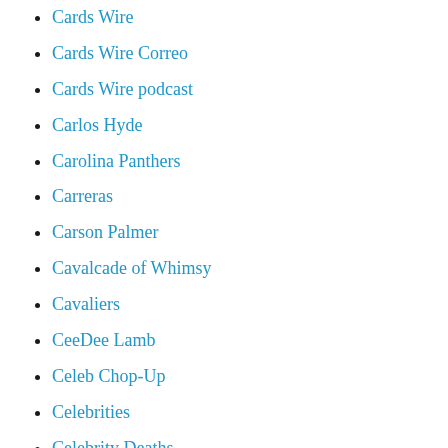Cards Wire
Cards Wire Correo
Cards Wire podcast
Carlos Hyde
Carolina Panthers
Carreras
Carson Palmer
Cavalcade of Whimsy
Cavaliers
CeeDee Lamb
Celeb Chop-Up
Celebrities
Celebrity Deaths
Celtics
Celtics Wire
Central Michigan
CFP Anthem